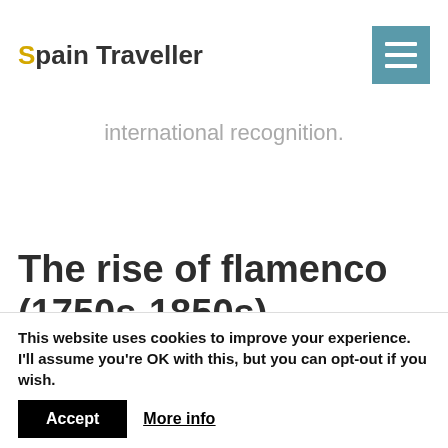Spain Traveller
international recognition.
The rise of flamenco (1750s-1850s)
At that time, gypsy settlements started blossoming relatively fast around Seville, Granada,
This website uses cookies to improve your experience. I'll assume you're OK with this, but you can opt-out if you wish.
Accept   More info